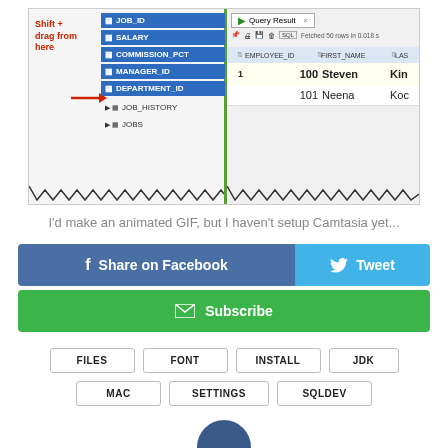[Figure (screenshot): Screenshot of SQL Developer showing a database schema panel on the left with fields SALARY, COMMISSION_PCT, MANAGER_ID, DEPARTMENT_ID highlighted in blue, with a red label 'Shift + drag from here' and a red arrow pointing to DEPARTMENT_ID. On the right is a Query Result panel showing EMPLOYEE_ID, FIRST_NAME, LAS columns with rows: 1, 100, Steven, Kin and 101, Neena, Koc.]
I'd make an animated GIF, but I haven't setup Camtasia yet...
Share on Facebook
Tweet
Subscribe
FILES
FONT
INSTALL
JDK
MAC
SETTINGS
SQLDEV
[Figure (photo): Partial avatar circle at the bottom center of the page, showing top portion of a circular profile photo with dark blue color.]